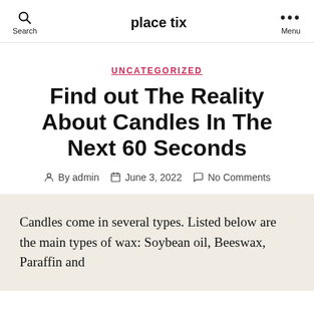place tix
UNCATEGORIZED
Find out The Reality About Candles In The Next 60 Seconds
By admin   June 3, 2022   No Comments
Candles come in several types. Listed below are the main types of wax: Soybean oil, Beeswax, Paraffin and